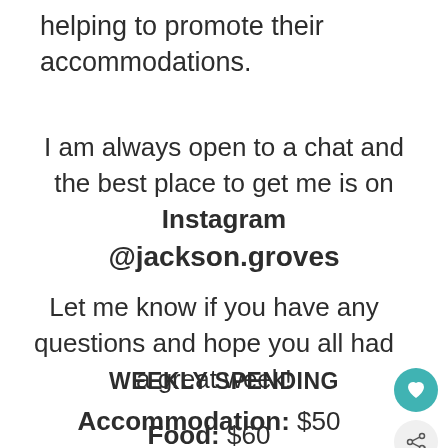helping to promote their accommodations.
I am always open to a chat and the best place to get me is on Instagram @jackson.groves
Let me know if you have any questions and hope you all had a great week!
WEEKLY SPENDING
Accommodation: $50
Food: $60